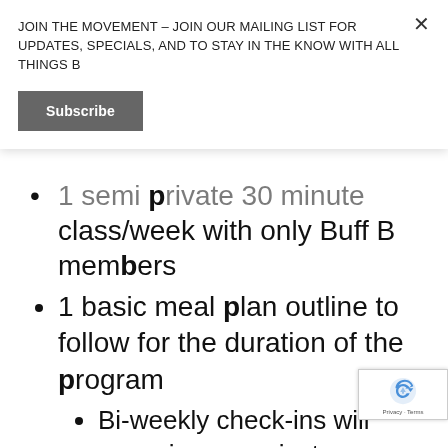JOIN THE MOVEMENT – JOIN OUR MAILING LIST FOR UPDATES, SPECIALS, AND TO STAY IN THE KNOW WITH ALL THINGS B
Subscribe
1 semi private 30 minute class/week with only Buff B members
1 basic meal plan outline to follow for the duration of the program
Bi-weekly check-ins will occur in your private sessions to determine your